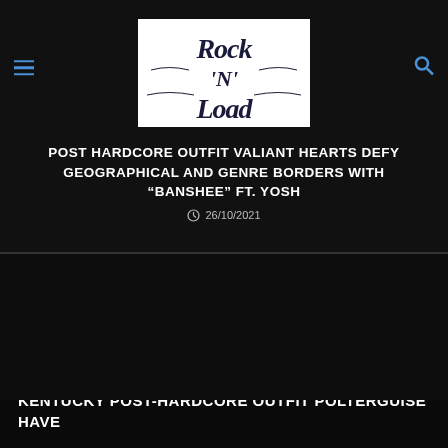[Figure (logo): Rock N Load logo — decorative serif/blackletter style text on white background]
POST HARDCORE OUTFIT VALIANT HEARTS DEFY GEOGRAPHICAL AND GENRE BORDERS WITH “BANSHEE” FT. YOSH
26/10/2021
[Figure (photo): Dark/black image area, mostly black background with a partially visible article image]
KENTUCKY POST-HARDCORE OUTFIT POLTERGUISE HAVE